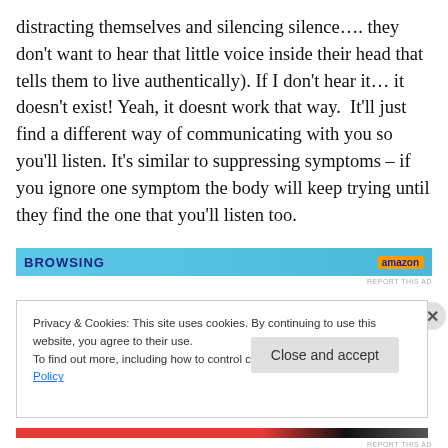distracting themselves and silencing silence…. they don't want to hear that little voice inside their head that tells them to live authentically). If I don't hear it… it doesn't exist! Yeah, it doesnt work that way.  It'll just find a different way of communicating with you so you'll listen. It's similar to suppressing symptoms – if you ignore one symptom the body will keep trying until they find the one that you'll listen too.
[Figure (other): Advertisement banner with blue background showing 'BROWSING' text and Amazon logo, with 'REPORT THIS AD' label]
Privacy & Cookies: This site uses cookies. By continuing to use this website, you agree to their use.
To find out more, including how to control cookies, see here: Cookie Policy